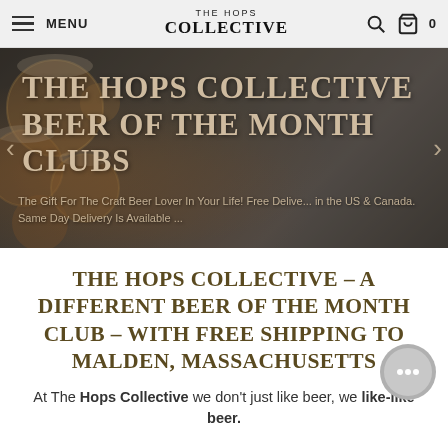MENU | THE HOPS COLLECTIVE | Search | Cart 0
[Figure (photo): Hero banner with dark moody background showing beer glasses overhead, with text overlay: THE HOPS COLLECTIVE BEER OF THE MONTH CLUBS. Subtitle: The Gift For The Craft Beer Lover In Your Life! Free Delivery in the US & Canada. Same Day Delivery Is Available. Left and right navigation arrows visible.]
THE HOPS COLLECTIVE – A DIFFERENT BEER OF THE MONTH CLUB – WITH FREE SHIPPING TO MALDEN, MASSACHUSETTS
At The Hops Collective we don't just like beer, we like-like beer.